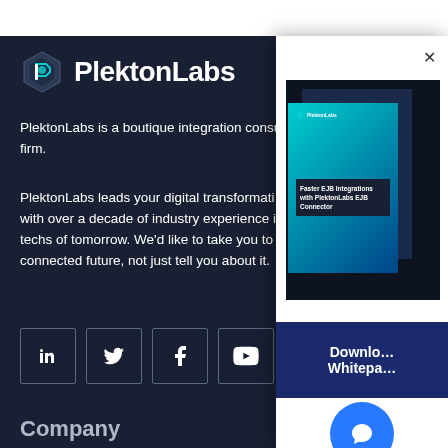[Figure (logo): PlektonLabs logo with hexagon icon and white bold text 'PlektonLabs']
PlektonLabs is a boutique integration consu… firm.
PlektonLabs leads your digital transformati… with over a decade of industry experience i… techs of tomorrow. We'd like to take you to t… connected future, not just tell you about it.
[Figure (illustration): Social media icon buttons: LinkedIn, Twitter, Facebook, YouTube in square outlines]
Company
[Figure (screenshot): Right-side modal panel showing a whitepaper cover for 'Faster EJB Integrations with PlektonLabs EJB Connector' and a Download Whitepaper button, with a blue chat button at bottom]